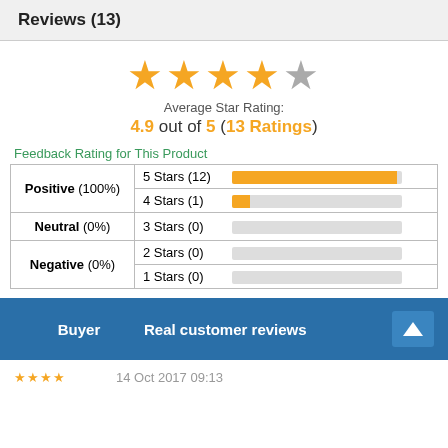Reviews (13)
[Figure (other): 5 orange stars with the 5th star grey, showing average rating of 4.9 out of 5]
Average Star Rating:
4.9 out of 5 (13 Ratings)
Feedback Rating for This Product
| Category | Stars | Bar |
| --- | --- | --- |
| Positive (100%) | 5 Stars (12) | full bar |
| Positive (100%) | 4 Stars (1) | small bar |
| Neutral (0%) | 3 Stars (0) | empty bar |
| Negative (0%) | 2 Stars (0) | empty bar |
| Negative (0%) | 1 Stars (0) | empty bar |
Buyer    Real customer reviews
14 Oct 2017 09:13